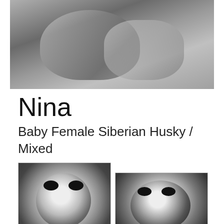[Figure (photo): Close-up photo of a Siberian Husky dog, grayscale/black and white tones, fur and facial features visible]
Nina
Baby Female Siberian Husky / Mixed
[Figure (photo): Thumbnail photo 1: Siberian Husky puppy facing camera with blue eyes, black and white coloring]
[Figure (photo): Thumbnail photo 2: Siberian Husky puppy sitting, black and white coloring, blue eyes, full body view]
This pet is no longer available for adoption.
Meet Nina, a 5 month old female siberian pup who will